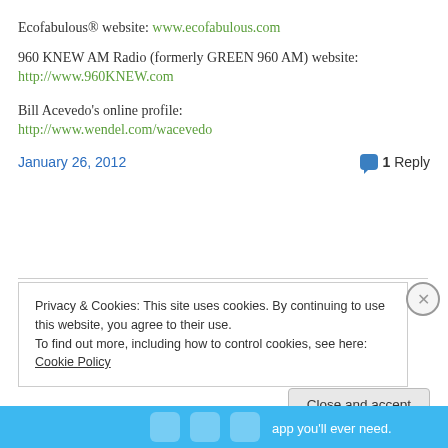Ecofabulous® website: www.ecofabulous.com
960 KNEW AM Radio (formerly GREEN 960 AM) website:
http://www.960KNEW.com
Bill Acevedo's online profile:
http://www.wendel.com/wacevedo
January 26, 2012   1 Reply
Privacy & Cookies: This site uses cookies. By continuing to use this website, you agree to their use.
To find out more, including how to control cookies, see here: Cookie Policy
Close and accept
[Figure (screenshot): Bottom blue banner with app advertisement text]